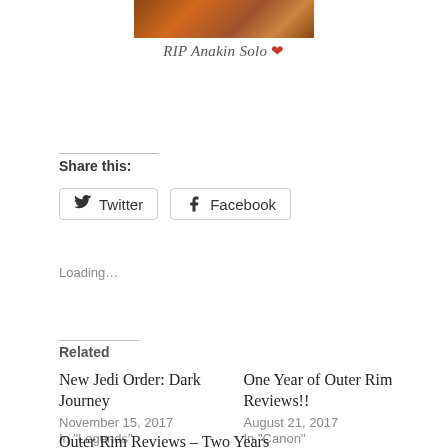[Figure (photo): Partial image at top of page, appears to show a warm-toned textured surface (possibly food or skin)]
RIP Anakin Solo ❤
Share this:
Twitter   Facebook
Loading…
Related
New Jedi Order: Dark Journey
November 15, 2017
In "Legends"
One Year of Outer Rim Reviews!!
August 21, 2017
In "Canon"
Outer Rim Reviews – Two Years Later
August 26, 2018
In "Canon"